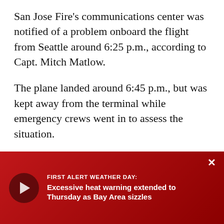San Jose Fire's communications center was notified of a problem onboard the flight from Seattle around 6:25 p.m., according to Capt. Mitch Matlow.
The plane landed around 6:45 p.m., but was kept away from the terminal while emergency crews went in to assess the situation.
One attendant was taken to a hospital to be evaluated. She has been released and reported feeling fine Friday, the airline said in a statement.
The plane was removed from service and its ventilation system [obscured] before the aircraft [obscured] statement said.
[Figure (screenshot): A red overlay banner at the bottom of the screen showing a video player with a play button and a First Alert Weather Day notification reading: 'Excessive heat warning extended to Thursday as Bay Area sizzles']